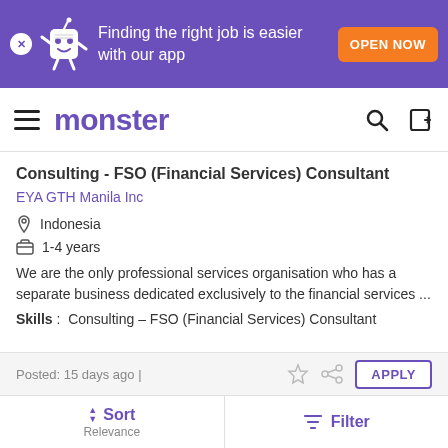[Figure (screenshot): Purple banner with Monster app mascot, text 'Finding the right job is easier with our app', and orange 'OPEN NOW' button]
monster (navigation bar with hamburger menu, search icon, and login icon)
Consulting - FSO (Financial Services) Consultant
EYA GTH Manila Inc
Indonesia
1-4 years
We are the only professional services organisation who has a separate business dedicated exclusively to the financial services ...
Skills : Consulting – FSO (Financial Services) Consultant
Posted: 15 days ago |
ACR Tax Consultant Manager
EYA GTH Manila Inc
Sort Relevance | Filter